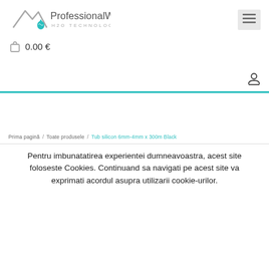[Figure (logo): ProfessionalWater H2O Technology logo with mountain/water drop icon]
0.00 €
Prima pagină / Toate produsele / Tub silicon 6mm-4mm x 300m Black
Pentru imbunatatirea experientei dumneavoastra, acest site foloseste Cookies. Continuand sa navigati pe acest site va exprimati acordul asupra utilizarii cookie-urilor.